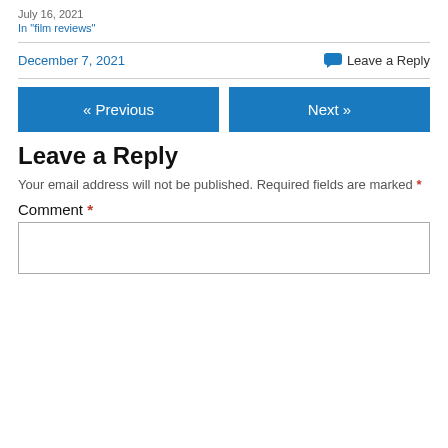July 16, 2021
In "film reviews"
December 7, 2021
Leave a Reply
« Previous
Next »
Leave a Reply
Your email address will not be published. Required fields are marked *
Comment *